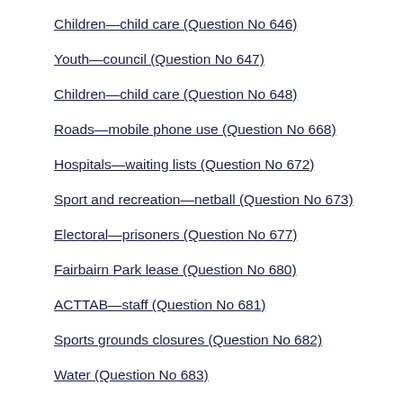Children—child care (Question No 646)
Youth—council (Question No 647)
Children—child care (Question No 648)
Roads—mobile phone use (Question No 668)
Hospitals—waiting lists (Question No 672)
Sport and recreation—netball (Question No 673)
Electoral—prisoners (Question No 677)
Fairbairn Park lease (Question No 680)
ACTTAB—staff (Question No 681)
Sports grounds closures (Question No 682)
Water (Question No 683)